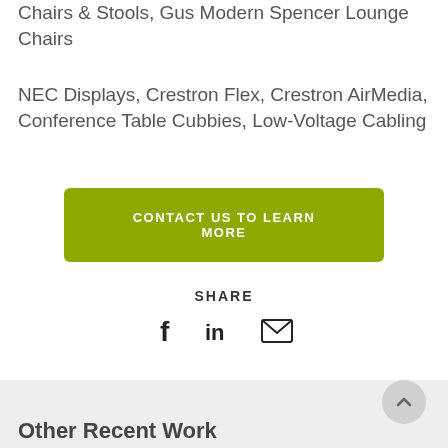Chairs & Stools, Gus Modern Spencer Lounge Chairs
NEC Displays, Crestron Flex, Crestron AirMedia, Conference Table Cubbies, Low-Voltage Cabling
CONTACT US TO LEARN MORE
SHARE
[Figure (infographic): Social share icons: Facebook (f), LinkedIn (in), Email (envelope)]
Other Recent Work